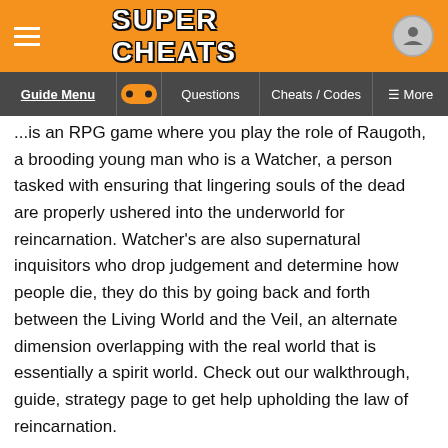SUPER CHEATS
Guide Menu | Questions | Cheats / Codes | More
...is an RPG game where you play the role of Raugoth, a brooding young man who is a Watcher, a person tasked with ensuring that lingering souls of the dead are properly ushered into the underworld for reincarnation. Watcher's are also supernatural inquisitors who drop judgement and determine how people die, they do this by going back and forth between the Living World and the Veil, an alternate dimension overlapping with the real world that is essentially a spirit world. Check out our walkthrough, guide, strategy page to get help upholding the law of reincarnation.
Jump To:
· Walkthrough, Guide, Strategy